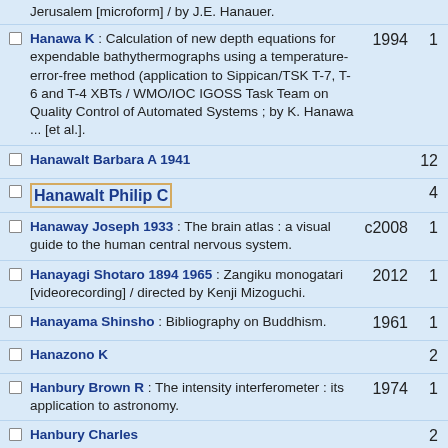Jerusalem [microform] / by J.E. Hanauer.
Hanawa K : Calculation of new depth equations for expendable bathythermographs using a temperature-error-free method (application to Sippican/TSK T-7, T-6 and T-4 XBTs / WMO/IOC IGOSS Task Team on Quality Control of Automated Systems ; by K. Hanawa ... [et al.].  1994  1
Hanawalt Barbara A 1941  12
Hanawalt Philip C  4
Hanaway Joseph 1933 : The brain atlas : a visual guide to the human central nervous system.  c2008  1
Hanayagi Shotaro 1894 1965 : Zangiku monogatari [videorecording] / directed by Kenji Mizoguchi.  2012  1
Hanayama Shinsho : Bibliography on Buddhism.  1961  1
Hanazono K  2
Hanbury Brown R : The intensity interferometer : its application to astronomy.  1974  1
Hanbury Charles  2
Hanbury F J : Flora of Kent / by F.J.Hanbury and C.S.Marshall.  1
Hanbury Harold Greville 1898 1993  15
1976